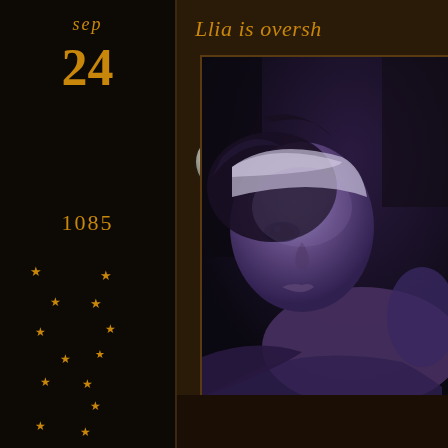Llia is oversh
sep
24
[Figure (illustration): Full moon, circular, glowing white against dark background]
1085
[Figure (illustration): Stars scattered in a vertical column pattern, golden color]
[Figure (illustration): 3D rendered female character lying down, looking upward, purple/blue tones, dark forest background]